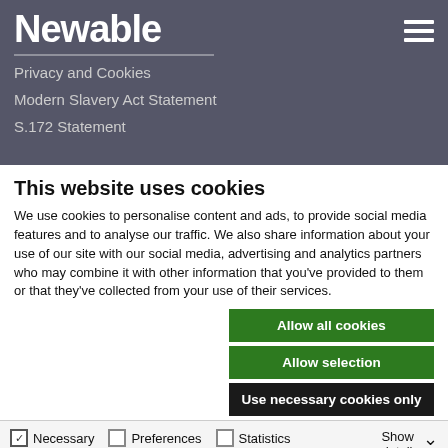Newable
Privacy and Cookies
Modern Slavery Act Statement
S.172 Statement
This website uses cookies
We use cookies to personalise content and ads, to provide social media features and to analyse our traffic. We also share information about your use of our site with our social media, advertising and analytics partners who may combine it with other information that you've provided to them or that they've collected from your use of their services.
Allow all cookies
Allow selection
Use necessary cookies only
Necessary  Preferences  Statistics  Marketing  Show details